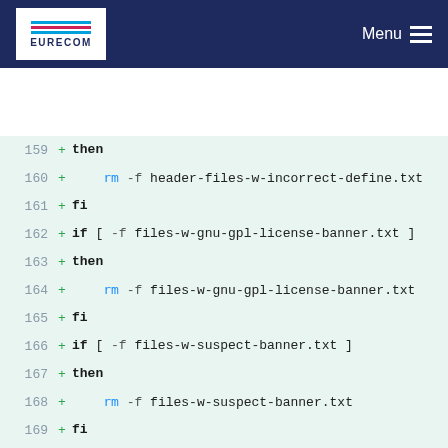EURECOM | Menu
159 + then
160 +     rm -f header-files-w-incorrect-define.txt
161 + fi
162 + if [ -f files-w-gnu-gpl-license-banner.txt ]
163 + then
164 +     rm -f files-w-gnu-gpl-license-banner.txt
165 + fi
166 + if [ -f files-w-suspect-banner.txt ]
167 + then
168 +     rm -f files-w-suspect-banner.txt
169 + fi
170 + awk '/#[ \t]*ifndef/ { gsub("^.*ifndef *",""); if (names[$1]!="") print "files with same {define ", FILENAME, names[$1]; names[$1]=FILENAME } /#[ \t]*define/ { gsub("^.*define *",$1); if (names[$1]!=FILENAME)